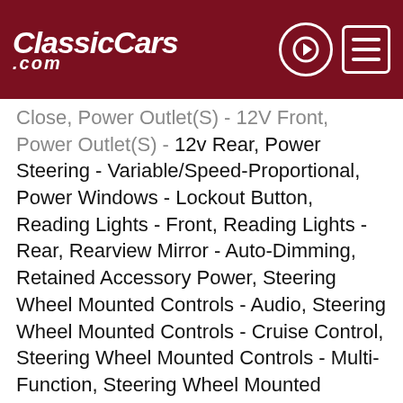ClassicCars.com
Close, Power Outlet(S) - 12V Front, Power Outlet(S) - 12v Rear, Power Steering - Variable/Speed-Proportional, Power Windows - Lockout Button, Reading Lights - Front, Reading Lights - Rear, Rearview Mirror - Auto-Dimming, Retained Accessory Power, Steering Wheel Mounted Controls - Audio, Steering Wheel Mounted Controls - Cruise Control, Steering Wheel Mounted Controls - Multi-Function, Steering Wheel Mounted Controls - Paddle Shifter, Steering Wheel Mounted Controls - Phone, Steering Wheel Mounted Controls - Voice Control, Storage - Door Pockets, Storage - Front Seatback, Storage - Grocery Bag Holder, Touch-Sensitive Controls, Universal Remote Transmitter - Homelink - Garage Door Opener, Vanity Mirrors - Dual Illuminating, Vanity Mirrors - Dual Rear Illuminating, Front Brake Type - Ventilated Disc, Front Spring Type - Pneumatic, Rear